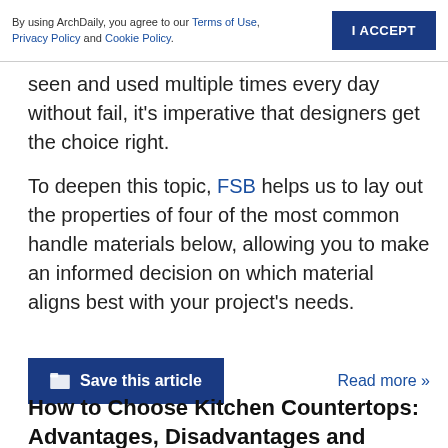By using ArchDaily, you agree to our Terms of Use, Privacy Policy and Cookie Policy. | I ACCEPT
seen and used multiple times every day without fail, it's imperative that designers get the choice right.
To deepen this topic, FSB helps us to lay out the properties of four of the most common handle materials below, allowing you to make an informed decision on which material aligns best with your project's needs.
Save this article   Read more »
How to Choose Kitchen Countertops: Advantages, Disadvantages and Inspiration